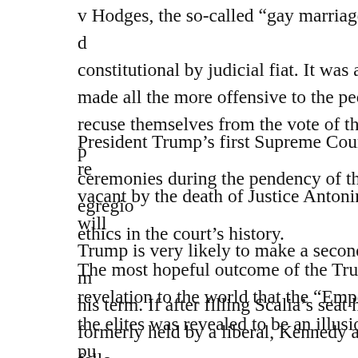v Hodges, the so-called “gay marriage” case, Kennedy simply d constitutional by judicial fiat. It was another legal opinion devo made all the more offensive to the peoples’ rights by the refusa recuse themselves from the vote of the court, after having both p ceremonies during the pendency of the case — the most egregio ethics in the court’s history.
President Trump’s first Supreme Court appointment will only re vacant by the death of Justice Antonin Scalia, and Kennedy will Trump is very likely to make a second, and perhaps a third or m his term. If after filling Scalia’s seat he appoints only one additi formerly held by a liberal, Kennedy and his homosexualist fello again be able to repeat their past acts of violence to the constitu
The most hopeful outcome of the Trump/Clinton election for pr revelation to the world that the “Emperor” of elite liberalism ha the elites was revealed to be an illusion created to manipulate pu number of Cultural Marxist co-conspirators who occupy key sea academia, entertainment and especially media. The conspiracy